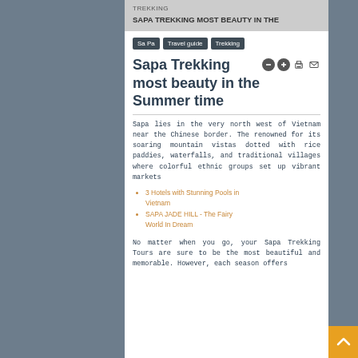TREKKING
SAPA TREKKING MOST BEAUTY IN THE
Sa Pa  Travel guide  Trekking
Sapa Trekking most beauty in the Summer time
Sapa lies in the very north west of Vietnam near the Chinese border. The renowned for its soaring mountain vistas dotted with rice paddies, waterfalls, and traditional villages where colorful ethnic groups set up vibrant markets
3 Hotels with Stunning Pools in Vietnam
SAPA JADE HILL - The Fairy World In Dream
No matter when you go, your Sapa Trekking Tours are sure to be the most beautiful and memorable. However, each season offers